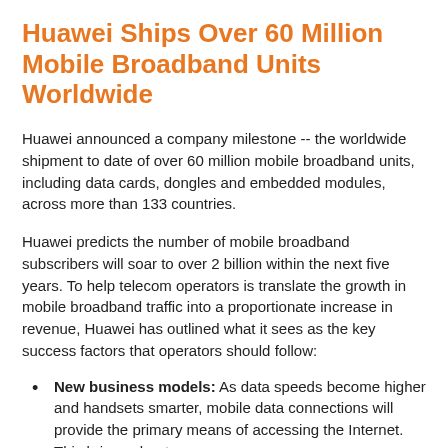Huawei Ships Over 60 Million Mobile Broadband Units Worldwide
Huawei announced a company milestone -- the worldwide shipment to date of over 60 million mobile broadband units, including data cards, dongles and embedded modules, across more than 133 countries.
Huawei predicts the number of mobile broadband subscribers will soar to over 2 billion within the next five years. To help telecom operators is translate the growth in mobile broadband traffic into a proportionate increase in revenue, Huawei has outlined what it sees as the key success factors that operators should follow:
New business models: As data speeds become higher and handsets smarter, mobile data connections will provide the primary means of accessing the Internet. This brings about a